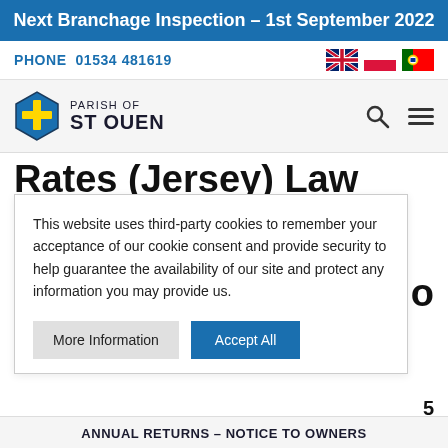Next Branchage Inspection – 1st September 2022
PHONE  01534 481619
[Figure (illustration): Parish of St Ouen logo with cross shield icon and text]
Rates (Jersey) Law 2005
This website uses third-party cookies to remember your acceptance of our cookie consent and provide security to help guarantee the availability of our site and protect any information you may provide us.
ANNUAL RETURNS – NOTICE TO OWNERS